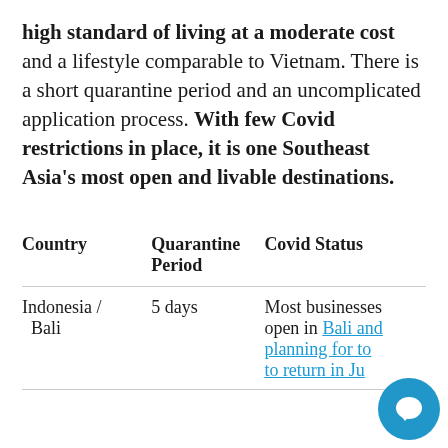high standard of living at a moderate cost and a lifestyle comparable to Vietnam. There is a short quarantine period and an uncomplicated application process. With few Covid restrictions in place, it is one Southeast Asia's most open and livable destinations.
| Country | Quarantine Period | Covid Status |
| --- | --- | --- |
| Indonesia / Bali | 5 days | Most businesses open in Bali and planning for to[urism] to return in Ju[ne] |